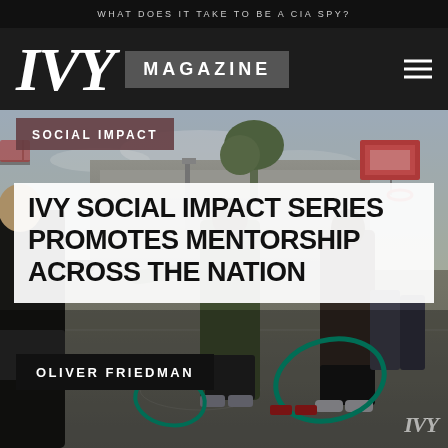WHAT DOES IT TAKE TO BE A CIA SPY?
IVY MAGAZINE
[Figure (photo): Basketball court outdoor scene with people playing, a man in a hoodie reaching out, hula hoops, basketball backboards visible in background]
SOCIAL IMPACT
IVY SOCIAL IMPACT SERIES PROMOTES MENTORSHIP ACROSS THE NATION
OLIVER FRIEDMAN